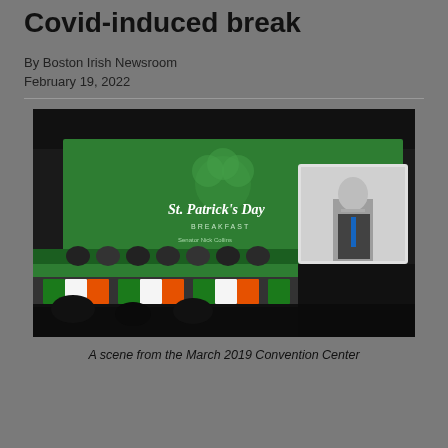Covid-induced break
By Boston Irish Newsroom
February 19, 2022
[Figure (photo): A scene from a St. Patrick's Day Breakfast event at a convention center. A large green banner reads 'St. Patrick's Day Breakfast' with a shamrock design. A long head table is filled with attendees. On the right side, a person (appears to be President Biden) appears on a video screen at a podium. Irish tricolor bunting decorates the front of the table.]
A scene from the March 2019 Convention Center